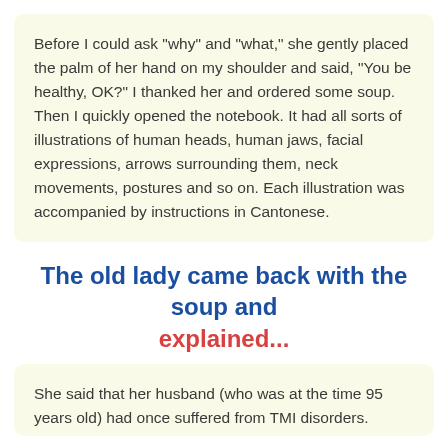Before I could ask "why" and "what," she gently placed the palm of her hand on my shoulder and said, "You be healthy, OK?" I thanked her and ordered some soup. Then I quickly opened the notebook. It had all sorts of illustrations of human heads, human jaws, facial expressions, arrows surrounding them, neck movements, postures and so on. Each illustration was accompanied by instructions in Cantonese.
The old lady came back with the soup and explained...
She said that her husband (who was at the time 95 years old) had once suffered from TMI disorders.